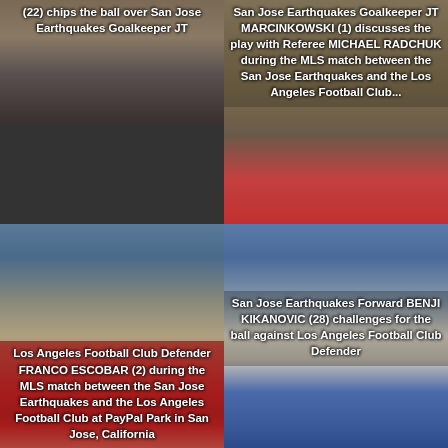[Figure (photo): Partial soccer photo showing player chipping ball over San Jose Earthquakes Goalkeeper JT, with caption overlaid]
(22) chips the ball over San Jose Earthquakes Goalkeeper JT
[Figure (photo): San Jose Earthquakes Goalkeeper JT MARCINKOWSKI (1) discusses the play with Referee MICHAEL RADCHUK during the MLS match between the San Jose Earthquakes and the Los Angeles Football Club]
San Jose Earthquakes Goalkeeper JT MARCINKOWSKI (1) discusses the play with Referee MICHAEL RADCHUK during the MLS match between the San Jose Earthquakes and the Los Angeles Football Club
[Figure (photo): Los Angeles Football Club Defender FRANCO ESCOBAR (2) during the MLS match between the San Jose Earthquakes and the Los Angeles Football Club at PayPal Park in San Jose, California]
Los Angeles Football Club Defender FRANCO ESCOBAR (2) during the MLS match between the San Jose Earthquakes and the Los Angeles Football Club at PayPal Park in San Jose, California
[Figure (photo): San Jose Earthquakes Forward BENJI KIKANOVIC (28) challenges for the ball against Los Angeles Football Club Defender]
San Jose Earthquakes Forward BENJI KIKANOVIC (28) challenges for the ball against Los Angeles Football Club Defender